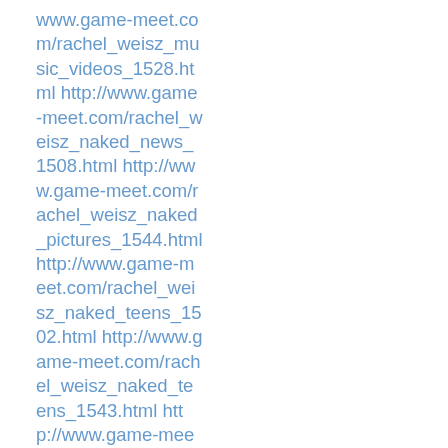www.game-meet.com/rachel_weisz_music_videos_1528.html http://www.game-meet.com/rachel_weisz_naked_news_1508.html http://www.game-meet.com/rachel_weisz_naked_pictures_1544.html http://www.game-meet.com/rachel_weisz_naked_teens_1502.html http://www.game-meet.com/rachel_weisz_naked_teens_1543.html http://www.game-meet.com/rachel_weisz_naked_teens_1545.html http://www.game-meet.com/rachel_weisz_naked_women_gallery_1538.html http://www.game-meet.com/rachel_weisz_non_nude_1540.html http://www.game-meet.com/rachel_weisz_nude_in